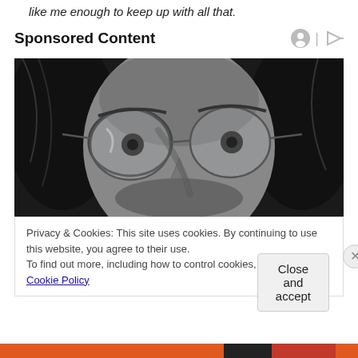like me enough to keep up with all that.
Sponsored Content
[Figure (photo): Black and white close-up photo of a young man with long hair and round glasses, looking upward.]
Privacy & Cookies: This site uses cookies. By continuing to use this website, you agree to their use.
To find out more, including how to control cookies, see here: Cookie Policy
Close and accept